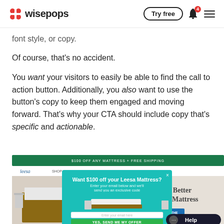wisepops — Try free
font style, or copy.
Of course, that's no accident.
You want your visitors to easily be able to find the call to action button. Additionally, you also want to use the button's copy to keep them engaged and moving forward. That's why your CTA should include copy that's specific and actionable.
[Figure (screenshot): Screenshot of Leesa mattress website with a popup overlay saying 'Want $100 off your Leesa Mattress? Enter your email below and we'll send you an exclusive code' with a green CTA button 'YES, SEND ME MY OFFER'. Background shows a bedroom with a mattress and text 'The Better New Mattress'. A Help chat widget is visible in the bottom right.]